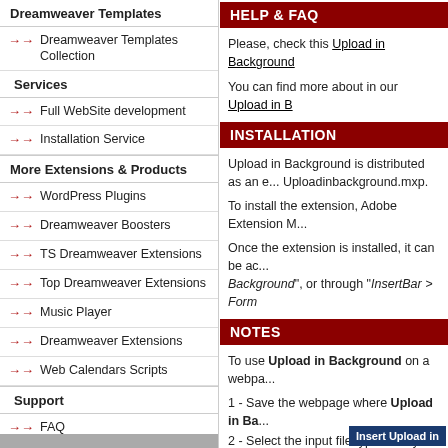Dreamweaver Templates
Dreamweaver Templates Collection
Services
Full WebSite development
Installation Service
More Extensions & Products
WordPress Plugins
Dreamweaver Boosters
TS Dreamweaver Extensions
Top Dreamweaver Extensions
Music Player
Dreamweaver Extensions
Web Calendars Scripts
Support
FAQ
Support Service
Contact Us
HELP & FAQ
Please, check this Upload in Background...
You can find more about in our Upload in B...
INSTALLATION
Upload in Background is distributed as an e... Uploadinbackground.mxp.
To install the extension, Adobe Extension M...
Once the extension is installed, it can be ac... Background", or through "InsertBar > Form...
NOTES
To use Upload in Background on a webpa...
1 - Save the webpage where Upload in Ba...
2 - Select the input file types that you wish...
By executing the extension Upload in Bac... appear, which is necessary for the correct f...
The fields of the setup window (Fig 1), are: